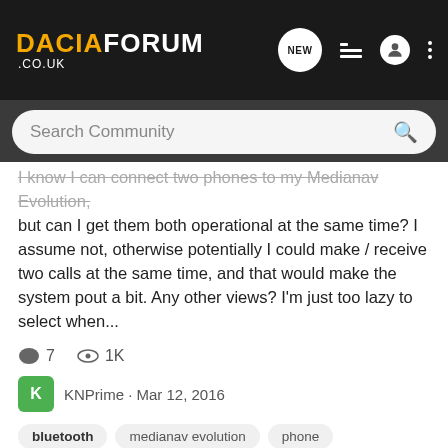DACIAFORUM .CO.UK
Search Community
I know I can connect two phones to my Medianav Evolution, but can I get them both operational at the same time? I assume not, otherwise potentially I could make / receive two calls at the same time, and that would make the system pout a bit. Any other views? I'm just too lazy to select when...
7   1K
KNPrime · Mar 12, 2016
bluetooth   medianav evolution   phone
Bluetooth failing to work
Sandero Electrical
I've enjoyed my trusty Logan load lugger for nearly half a spin of the sun now and the bluetooth has worked fine until the last couple weeks, it's just...